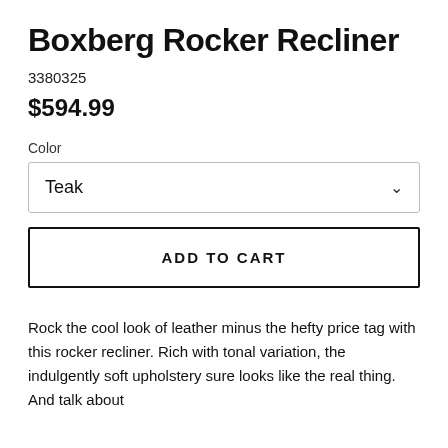Boxberg Rocker Recliner
3380325
$594.99
Color
Teak
ADD TO CART
Rock the cool look of leather minus the hefty price tag with this rocker recliner. Rich with tonal variation, the indulgently soft upholstery sure looks like the real thing. And talk about